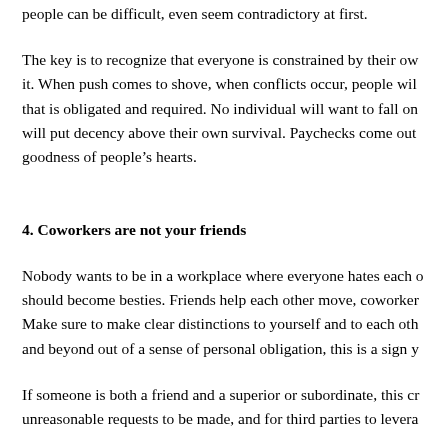people can be difficult, even seem contradictory at first.
The key is to recognize that everyone is constrained by their own it. When push comes to shove, when conflicts occur, people wil that is obligated and required. No individual will want to fall on will put decency above their own survival. Paychecks come out goodness of people's hearts.
4. Coworkers are not your friends
Nobody wants to be in a workplace where everyone hates each o should become besties. Friends help each other move, coworkers Make sure to make clear distinctions to yourself and to each oth and beyond out of a sense of personal obligation, this is a sign y
If someone is both a friend and a superior or subordinate, this cr unreasonable requests to be made, and for third parties to levera